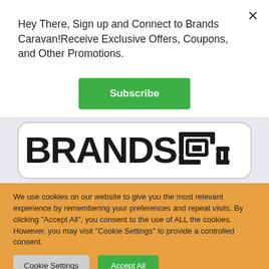Hey There, Sign up and Connect to Brands Caravan!Receive Exclusive Offers, Coupons, and Other Promotions.
Subscribe
[Figure (logo): Brands Caravan logo with large bold text BRANDS and a QR-code style icon on white rounded rectangle background]
We use cookies on our website to give you the most relevant experience by remembering your preferences and repeat visits. By clicking "Accept All", you consent to the use of ALL the cookies. However, you may visit "Cookie Settings" to provide a controlled consent.
Cookie Settings
Accept All